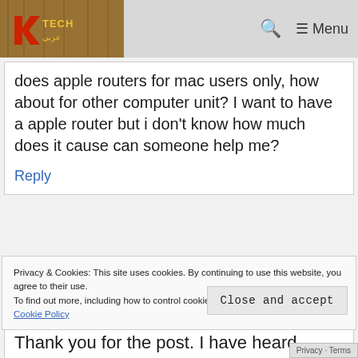Tech [logo] | Q | ☰ Menu
does apple routers for mac users only, how about for other computer unit? I want to have a apple router but i don't know how much does it cause can someone help me?
Reply
Privacy & Cookies: This site uses cookies. By continuing to use this website, you agree to their use.
To find out more, including how to control cookies, see here:
Cookie Policy
Close and accept
Thank you for the post. I have heard
Privacy · Terms